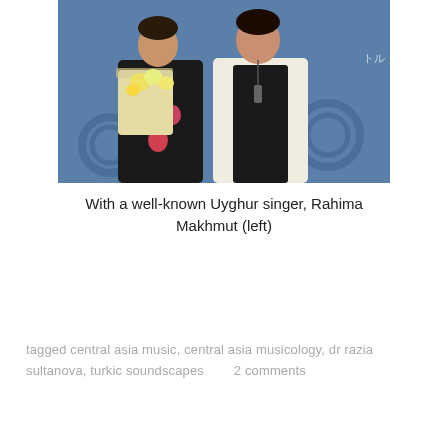[Figure (photo): Two women standing together in front of a blue backdrop with logos. The woman on the left holds a large bouquet of flowers wrapped in clear plastic and wears a colorful floral dress. The woman on the right wears a white blazer and dark top with a long necklace.]
With a well-known Uyghur singer, Rahima Makhmut (left)
tagged central asia music, central asia musicology, dr razia sultanova, turkic soundscapes       2 comments